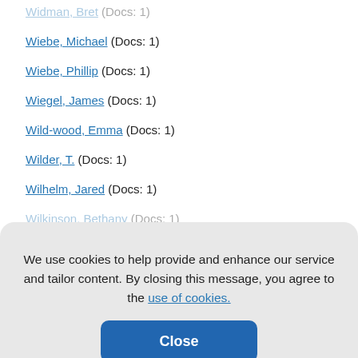Widman, Bret (Docs: 1)
Wiebe, Michael (Docs: 1)
Wiebe, Phillip (Docs: 1)
Wiegel, James (Docs: 1)
Wild-wood, Emma (Docs: 1)
Wilder, T. (Docs: 1)
Wilhelm, Jared (Docs: 1)
Wilkinson, Bethany (Docs: 1)
We use cookies to help provide and enhance our service and tailor content. By closing this message, you agree to the use of cookies.
Williams, Andrew (Docs: 1)